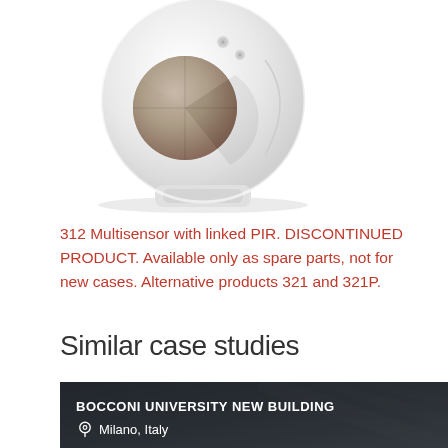[Figure (photo): White circular PIR motion sensor / multisensor device photographed from above, showing the sensor lens and mounting details]
312 Multisensor with linked PIR. DISCONTINUED PRODUCT. Available only as spare parts, not for new cases. Alternative products 321 and 321P.
Similar case studies
[Figure (photo): Case study banner image showing Bocconi University New Building with architectural interior photo in dark overlay]
BOCCONI UNIVERSITY NEW BUILDING
Milano, Italy